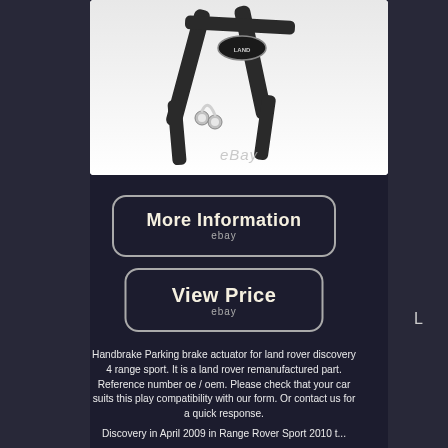[Figure (photo): Close-up photo of a Land Rover handbrake parking brake actuator component showing black metal arms/joints with a Land Rover logo badge, photographed on white background with eBay watermark]
[Figure (screenshot): Button styled graphic reading 'More Information' with 'ebay' text below, dark background with rounded rectangle border]
[Figure (screenshot): Button styled graphic reading 'View Price' with 'ebay' text below, dark background with rounded rectangle border]
Handbrake Parking brake actuator for land rover discovery 4 range sport. It is a land rover remanufactured part. Reference number oe / oem. Please check that your car suits this play compatibility with our form. Or contact us for a quick response.
Discovery in April 2009 in Range Rover Sport 2010 t...